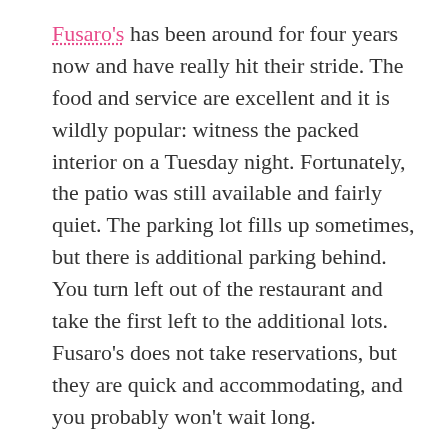Fusaro's has been around for four years now and have really hit their stride. The food and service are excellent and it is wildly popular: witness the packed interior on a Tuesday night. Fortunately, the patio was still available and fairly quiet. The parking lot fills up sometimes, but there is additional parking behind. You turn left out of the restaurant and take the first left to the additional lots. Fusaro's does not take reservations, but they are quick and accommodating, and you probably won't wait long.
Their menu is classic red sauce Italian, but exceptionally well prepared. It includes 10 antipasti, 5 salads, 9 pasta dishes, 6 “favorites” like Bolognese, 7 entrees like Veal Marsala, and Fisherman’s Stew, and a few side dishes like spiral cut zucchini. Among those antipasti is their favorite: Nana Jean’s Meatballs, with pomodoro sauce and herbed ricotta, which we recommend highly.